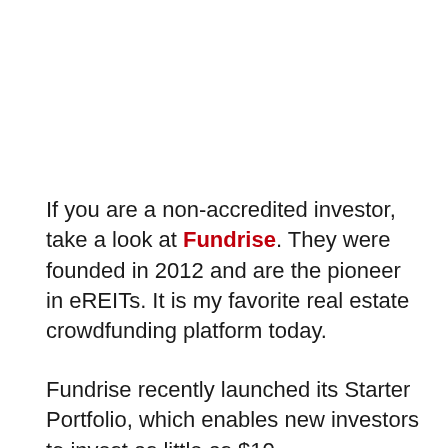If you are a non-accredited investor, take a look at Fundrise. They were founded in 2012 and are the pioneer in eREITs. It is my favorite real estate crowdfunding platform today.
Fundrise recently launched its Starter Portfolio, which enables new investors to invest as little as $10.
If you are an accredited investor check out